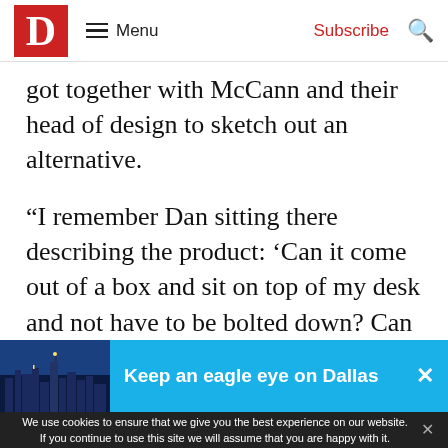D  Menu  Subscribe
got together with McCann and their head of design to sketch out an alternative.
“I remember Dan sitting there describing the product: ‘Can it come out of a box and sit on top of my desk and not have to be bolted down? Can it just pop up in a second? Do you need a motor?’” recalls McCann,
[Figure (screenshot): Blue promotional banner with Dallas skyline image and text 'Keep an eagle eye on Dallas' with a close (x) button]
We use cookies to ensure that we give you the best experience on our website. If you continue to use this site we will assume that you are happy with it.
GOT IT!